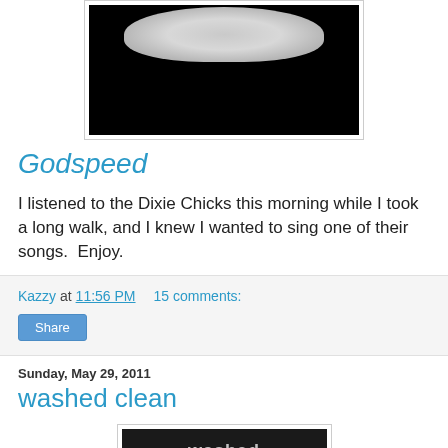[Figure (photo): Black and white photo showing white feathers or a dove against a black background, shown partially at the top of the page]
Godspeed
I listened to the Dixie Chicks this morning while I took a long walk, and I knew I wanted to sing one of their songs.  Enjoy.
Kazzy at 11:56 PM    15 comments:
Share
Sunday, May 29, 2011
washed clean
[Figure (photo): Partial image showing 'washed' text/logo against a dark background, at bottom of page]